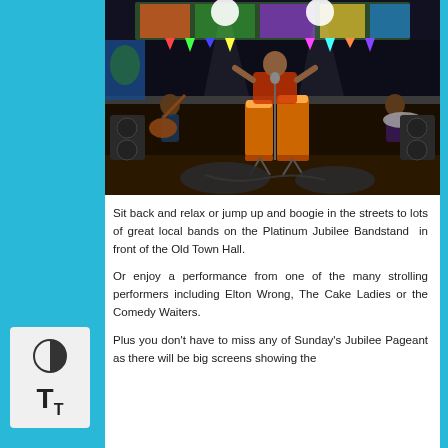[Figure (photo): A performer standing at conga drums on a colorful festival stage with band members in the background, decorative murals, and stage lighting.]
Sit back and relax or jump up and boogie in the streets to lots of great local bands on the Platinum Jubilee Bandstand  in front of the Old Town Hall.
Or enjoy a performance from one of the many strolling performers including Elton Wrong, The Cake Ladies or the Comedy Waiters.
Plus you don't have to miss any of Sunday's Jubilee Pageant as there will be big screens showing the